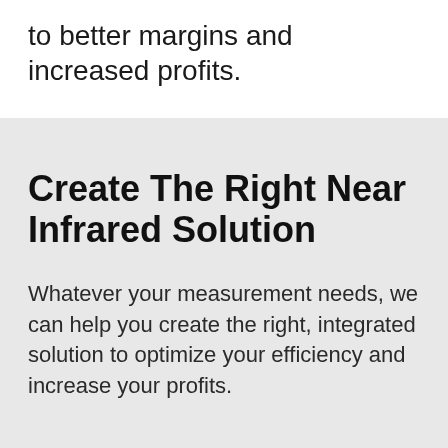to better margins and increased profits.
Create The Right Near Infrared Solution
Whatever your measurement needs, we can help you create the right, integrated solution to optimize your efficiency and increase your profits.